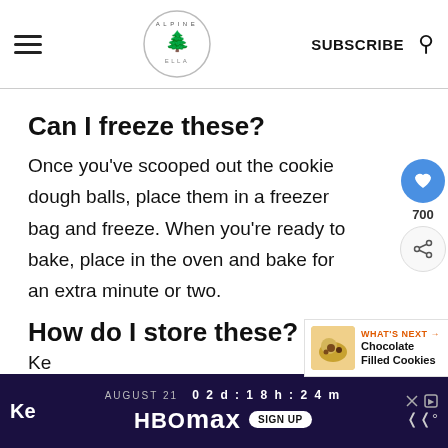Alpine Ella — SUBSCRIBE
Can I freeze these?
Once you've scooped out the cookie dough balls, place them in a freezer bag and freeze. When you're ready to bake, place in the oven and bake for an extra minute or two.
How do I store these?
Ke...
[Figure (screenshot): HBO Max advertisement bar at bottom: AUGUST 21 02d:18h:24m, HBOMAX SIGN UP]
[Figure (infographic): What's Next widget: Chocolate Filled Cookies with thumbnail image]